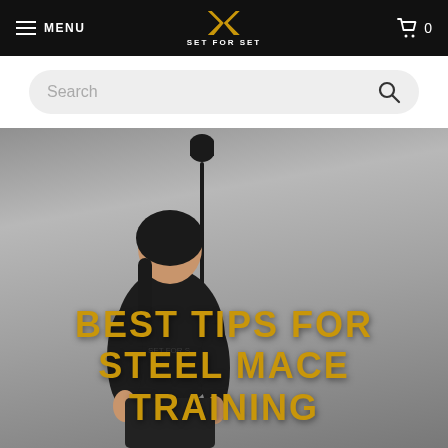MENU | SET FOR SET | 0
Search
[Figure (photo): Woman in black SET FOR SET t-shirt holding a steel mace upright, looking up at the mace head, photographed against a grey studio background]
BEST TIPS FOR STEEL MACE TRAINING